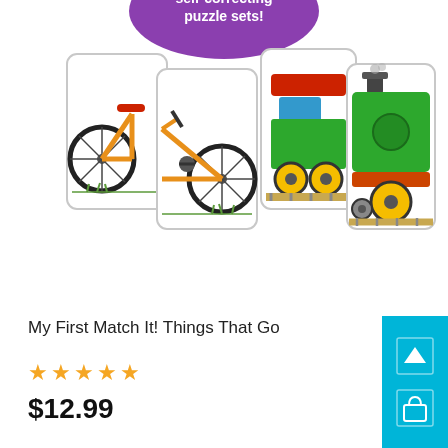[Figure (photo): Product image showing self-correcting puzzle card sets with illustrated bicycle puzzle pieces and train puzzle pieces split into two cards each, with a purple badge at top reading 'self-correcting puzzle sets!']
My First Match It! Things That Go
[Figure (other): 5 gold/yellow star rating icons]
$12.99